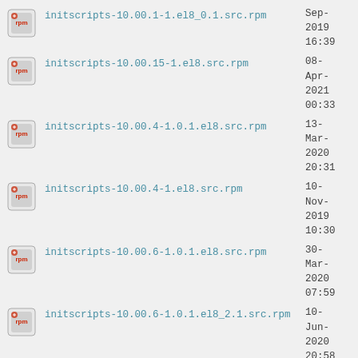initscripts-10.00.1-1.el8_0.1.src.rpm
initscripts-10.00.15-1.el8.src.rpm
initscripts-10.00.4-1.0.1.el8.src.rpm
initscripts-10.00.4-1.el8.src.rpm
initscripts-10.00.6-1.0.1.el8.src.rpm
initscripts-10.00.6-1.0.1.el8_2.1.src.rpm
initscripts-10.00.6-1.0.1.el8_2.2.src.rpm
initscripts-10.00.9.1.el8.src.rpm